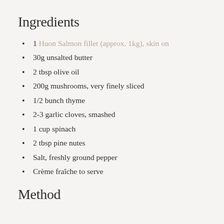Ingredients
1 Huon Salmon fillet (approx. 1kg), skin on
30g unsalted butter
2 tbsp olive oil
200g mushrooms, very finely sliced
1/2 bunch thyme
2-3 garlic cloves, smashed
1 cup spinach
2 tbsp pine nutes
Salt, freshly ground pepper
Crème fraîche to serve
Method